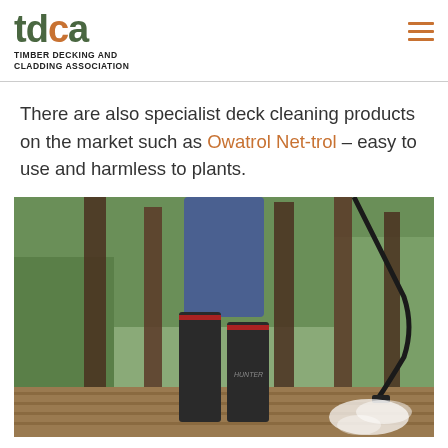tdca — TIMBER DECKING AND CLADDING ASSOCIATION
There are also specialist deck cleaning products on the market such as Owatrol Net-trol – easy to use and harmless to plants.
[Figure (photo): Person wearing blue jeans and black Hunter wellington boots standing on a timber deck between wooden posts, using a pressure washer hose spraying water mist, with green garden foliage visible in the background.]